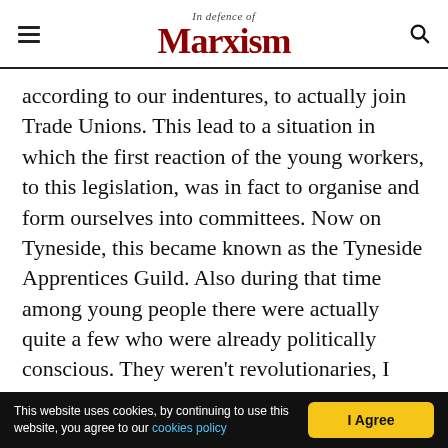In defence of Marxism
according to our indentures, to actually join Trade Unions. This lead to a situation in which the first reaction of the young workers, to this legislation, was in fact to organise and form ourselves into committees. Now on Tyneside, this became known as the Tyneside Apprentices Guild. Also during that time among young people there were actually quite a few who were already politically conscious. They weren't revolutionaries, I mean they weren't particularly left wing but at least they were politically conscious. This was a reflection really of the class struggles which they had themselves
This website uses cookies, by continuing to use this website, you agree to our cookies policy   I Agree